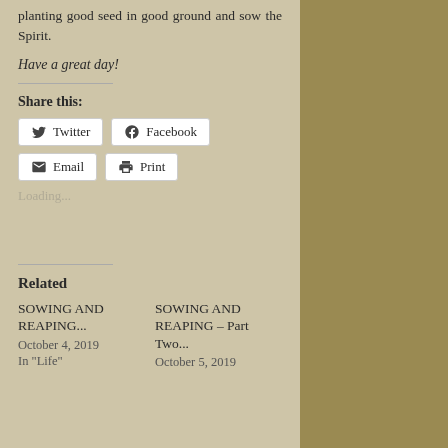planting good seed in good ground and sow the Spirit.
Have a great day!
Share this:
Twitter
Facebook
Email
Print
Loading...
Related
SOWING AND REAPING... October 4, 2019 In "Life"
SOWING AND REAPING – Part Two... October 5, 2019